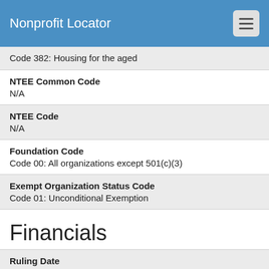Nonprofit Locator
Code 382: Housing for the aged
NTEE Common Code
N/A
NTEE Code
N/A
Foundation Code
Code 00: All organizations except 501(c)(3)
Exempt Organization Status Code
Code 01: Unconditional Exemption
Financials
Ruling Date
1935-08-01